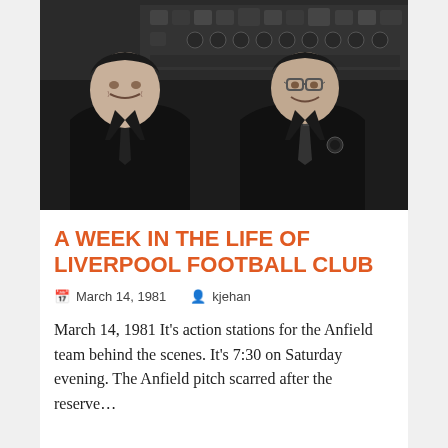[Figure (photo): Black and white photograph of two men in suits and ties, smiling, in an indoor setting with shelves or equipment visible in the background.]
A WEEK IN THE LIFE OF LIVERPOOL FOOTBALL CLUB
March 14, 1981   kjehan
March 14, 1981 It's action stations for the Anfield team behind the scenes. It's 7:30 on Saturday evening. The Anfield pitch scarred after the reserve…